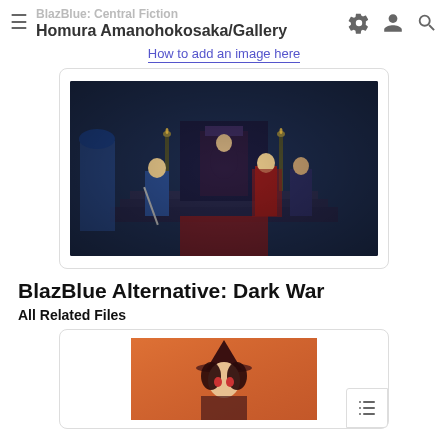BlazBlue: Central Fiction | Homura Amanohokosaka/Gallery
How to add an image here
[Figure (screenshot): Anime scene from BlazBlue: Central Fiction showing characters in a throne room setting]
BlazBlue Alternative: Dark War
All Related Files
[Figure (illustration): Anime illustration of a character with a witch hat in warm orange/red tones]